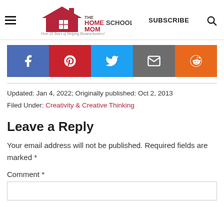THE HOMESCHOOL MOM — Over 20 Years of Helping Homeschoolers! | SUBSCRIBE
[Figure (other): Social share buttons: Facebook, Pinterest, Twitter, Email, Reddit]
Updated: Jan 4, 2022; Originally published: Oct 2, 2013
Filed Under: Creativity & Creative Thinking
Leave a Reply
Your email address will not be published. Required fields are marked *
Comment *